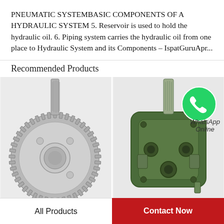PNEUMATIC SYSTEMBASIC COMPONENTS OF A HYDRAULIC SYSTEM 5. Reservoir is used to hold the hydraulic oil. 6. Piping system carries the hydraulic oil from one place to Hydraulic System and its Components – IspatGuruApr...
Recommended Products
[Figure (photo): Silver metallic gear/sprocket pump component with shaft, isolated on light background]
[Figure (photo): Green hydraulic gear pump with shaft and ports, WhatsApp Online badge overlay]
All Products
Contact Now